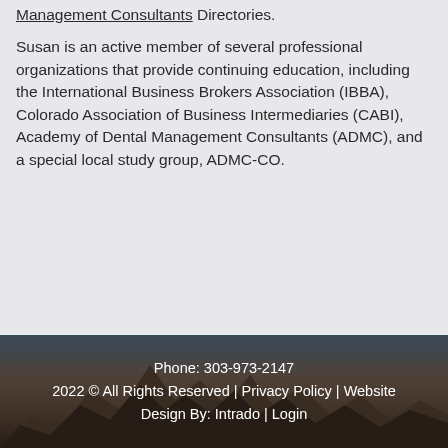Management Consultants Directories.
Susan is an active member of several professional organizations that provide continuing education, including the International Business Brokers Association (IBBA), Colorado Association of Business Intermediaries (CABI), Academy of Dental Management Consultants (ADMC), and a special local study group, ADMC-CO.
Phone: 303-973-2147
2022 © All Rights Reserved | Privacy Policy | Website Design By: Intrado | Login